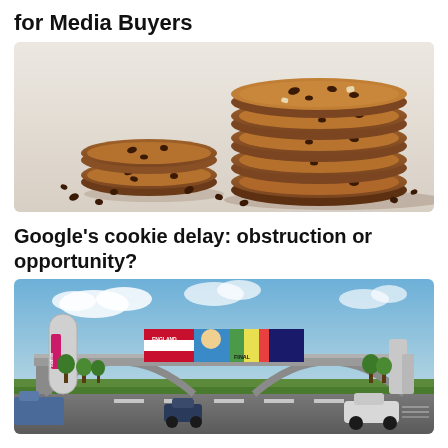for Media Buyers
[Figure (photo): Stack of chocolate chip cookies on a white background with scattered chocolate chips]
Google's cookie delay: obstruction or opportunity?
[Figure (photo): Arch bridge over a motorway with a large digital billboard showing England football Final advertisement, cars on road below, Salford area]